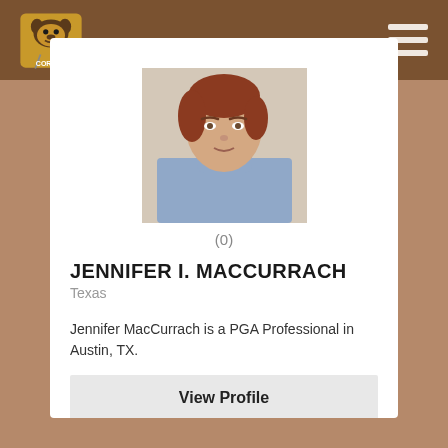Golf Corner logo and navigation header
[Figure (photo): Headshot photo of Jennifer I. MacCurrach, a woman with short reddish-brown hair wearing a light blue turtleneck sweater]
(0)
JENNIFER I. MACCURRACH
Texas
Jennifer MacCurrach is a PGA Professional in Austin, TX.
View Profile